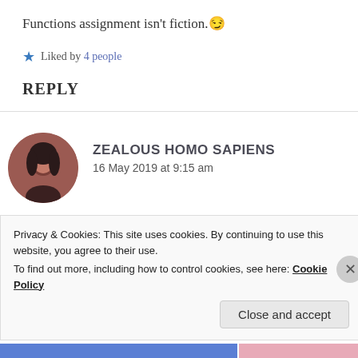Functions assignment isn't fiction. 😏
★ Liked by 4 people
REPLY
[Figure (photo): Circular avatar photo of a person with dark hair, reddish-brown toned image]
ZEALOUS HOMO SAPIENS
16 May 2019 at 9:15 am
My school hasn't started, how do you expect an
Privacy & Cookies: This site uses cookies. By continuing to use this website, you agree to their use.
To find out more, including how to control cookies, see here: Cookie Policy
Close and accept